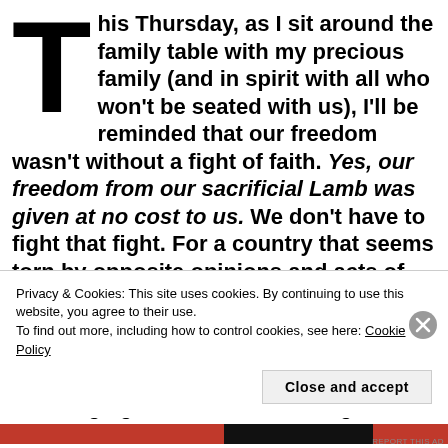This Thursday, as I sit around the family table with my precious family (and in spirit with all who won't be seated with us), I'll be reminded that our freedom wasn't without a fight of faith. Yes, our freedom from our sacrificial Lamb was given at no cost to us. We don't have to fight that fight. For a country that seems torn by opposite opinions and acts of aggression, I pray that assaults will cease. Not just on the Day of Thanksgiving and Praise, but every day.
Not long ago a new tradition began on social media
Privacy & Cookies: This site uses cookies. By continuing to use this website, you agree to their use.
To find out more, including how to control cookies, see here: Cookie Policy